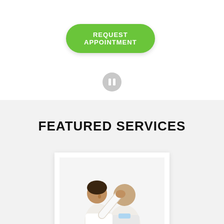[Figure (other): Green rounded button labeled REQUEST APPOINTMENT]
[Figure (other): Gray circular pause button icon]
FEATURED SERVICES
[Figure (photo): A chiropractor in a white shirt examining or adjusting the head and back of a patient who is standing with their back to the viewer, both on a white background]